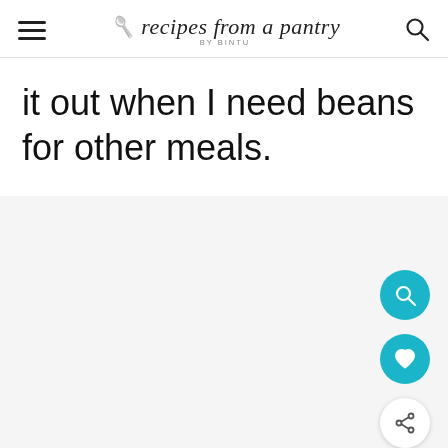recipes from a pantry BY BINTU
it out when I need beans for other meals.
[Figure (screenshot): Light grey placeholder image area below the text content]
[Figure (other): Three floating action buttons on the right side: teal search button, teal heart/favorite button, white share button]